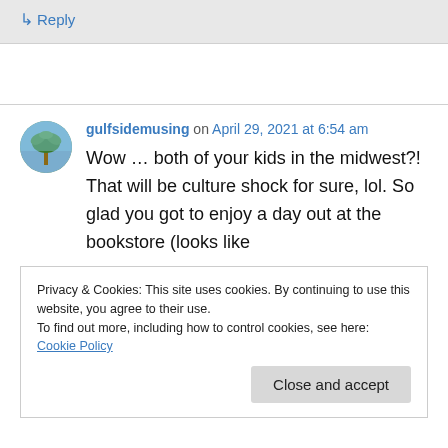↳ Reply
gulfsidemusing on April 29, 2021 at 6:54 am
Wow … both of your kids in the midwest?! That will be culture shock for sure, lol. So glad you got to enjoy a day out at the bookstore (looks like
Privacy & Cookies: This site uses cookies. By continuing to use this website, you agree to their use.
To find out more, including how to control cookies, see here: Cookie Policy
Close and accept